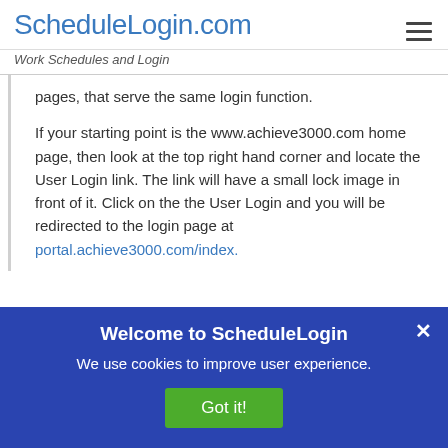ScheduleLogin.com
Work Schedules and Login
pages, that serve the same login function.

If your starting point is the www.achieve3000.com home page, then look at the top right hand corner and locate the User Login link. The link will have a small lock image in front of it. Click on the the User Login and you will be redirected to the login page at portal.achieve3000.com/index.
Welcome to ScheduleLogin
We use cookies to improve user experience.
Got it!